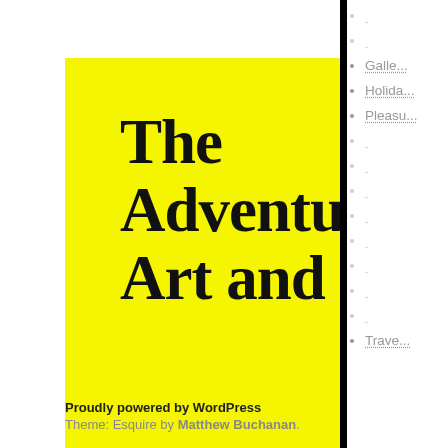[Figure (illustration): Yellow speech bubble card with blog title 'The Adventures of Art and Carly', tagline 'Our life for your amusement.', RSS and search icons, and a black bar element]
The Adventures of Art and Carly
Our life for your amusement.
Galle...
Holida...
Pleasu...
Trave...
Proudly powered by WordPress
Theme: Esquire by Matthew Buchanan.